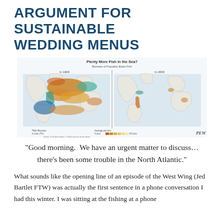ARGUMENT FOR SUSTAINABLE WEDDING MENUS
[Figure (map): Two world maps side by side comparing fish biomass in 1900 and 2000, titled 'Plenty More Fish in the Sea? Biomass of Popularly Eaten Fish'. The left map (In 1900) shows abundant colored regions across the North Atlantic and other areas. The right map (In 2000) shows greatly reduced colored regions, mostly near coastlines. Published by PEW.]
“Good morning.  We have an urgent matter to discuss… there’s been some trouble in the North Atlantic.”
What sounds like the opening line of an episode of the West Wing (Jed Bartlet FTW) was actually the first sentence in a phone conversation I had this winter. I was sitting at the fishing at a phone